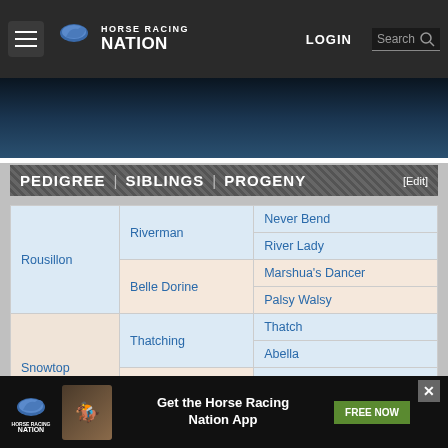Horse Racing Nation — LOGIN | Search
[Figure (screenshot): Hero image with dark blue/teal gradient background]
PEDIGREE | SIBLINGS | PROGENY [Edit]
| Level 1 | Level 2 | Level 3 |
| --- | --- | --- |
| Rousillon | Riverman | Never Bend |
| Rousillon | Riverman | River Lady |
| Rousillon | Belle Dorine | Marshua's Dancer |
| Rousillon | Belle Dorine | Palsy Walsy |
| Snowtop | Thatching | Thatch |
| Snowtop | Thatching | Abella |
| Snowtop | Icing | Prince Tenderfoot |
| Snowtop | Icing | Cake |
DULCEATA - RACE RESULTS & PAST PERFORMANCES [Add Race Result][Add Horse]
| Date | Horse | Fin | Tr | Dist. | Sf. | Race | Cnd | 1st | 2nd | 3rd |
| --- | --- | --- | --- | --- | --- | --- | --- | --- | --- | --- |
[Figure (infographic): Horse Racing Nation app advertisement banner at bottom]